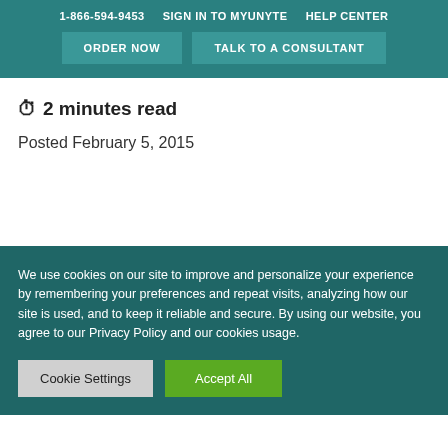1-866-594-9453   SIGN IN TO MYUNYTE   HELP CENTER
ORDER NOW   TALK TO A CONSULTANT
⏱ 2 minutes read
Posted February 5, 2015
We use cookies on our site to improve and personalize your experience by remembering your preferences and repeat visits, analyzing how our site is used, and to keep it reliable and secure. By using our website, you agree to our Privacy Policy and our cookies usage.
Cookie Settings   Accept All